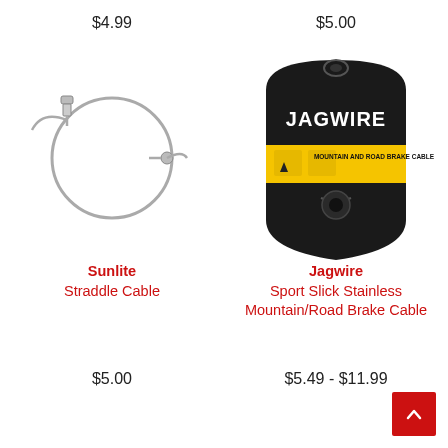$4.99
$5.00
[Figure (photo): Sunlite straddle cable coiled in a circle with barrel adjuster fittings at each end, silver stainless cable on white background]
[Figure (photo): Jagwire Sport Slick Stainless Mountain/Road Brake Cable in black and yellow retail packaging on white background]
Sunlite
Straddle Cable
Jagwire
Sport Slick Stainless Mountain/Road Brake Cable
$5.00
$5.49 - $11.99